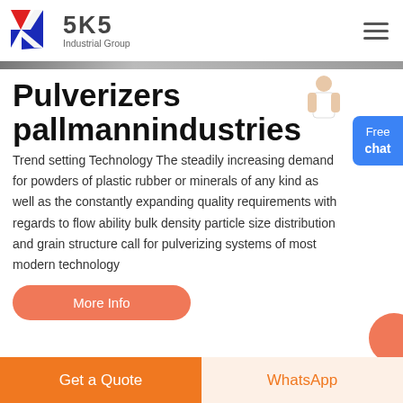[Figure (logo): SKS Industrial Group logo with red and blue K lettermark and bold SKS text]
Pulverizers pallmannindustries
Trend setting Technology The steadily increasing demand for powders of plastic rubber or minerals of any kind as well as the constantly expanding quality requirements with regards to flow ability bulk density particle size distribution and grain structure call for pulverizing systems of most modern technology
More Info
Get a Quote
WhatsApp